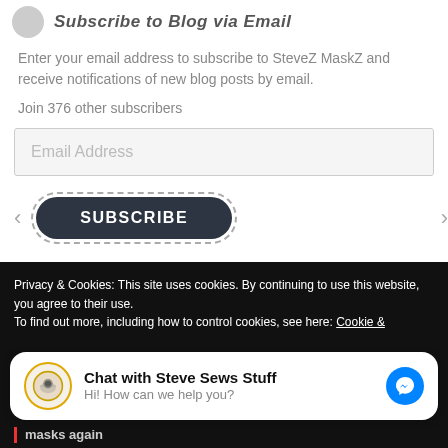Subscribe to Blog via Email
Enter your email address to subscribe to SteveZ MaskZ and receive notifications of new blog posts by email.
Join 376 other subscribers
Email Address
SUBSCRIBE
Privacy & Cookies: This site uses cookies. By continuing to use this website, you agree to their use.
To find out more, including how to control cookies, see here: Cookie &
Chat with Steve Sews Stuff
Hi! How can we help you?
masks again